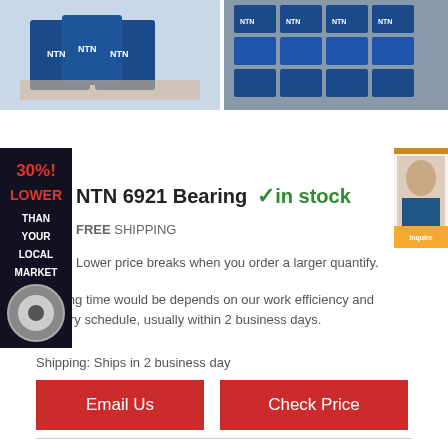[Figure (photo): Two product images showing NTN bearing boxes stacked, left image close-up, right image showing more boxes]
[Figure (illustration): Left side dark banner reading 30% LOWER THAN YOUR LOCAL MARKET with bearing image below]
[Figure (illustration): Right side advertisement banner with woman photo and orange button]
NTN 6921 Bearing ✓ in stock
FREE SHIPPING
Lower price breaks when you order a larger quantify.
Leading time would be depends on our work efficiency and delivery schedule, usually within 2 business days.
Shipping: Ships in 2 business day
Email Us
Check Price
NTN 6921 Description :